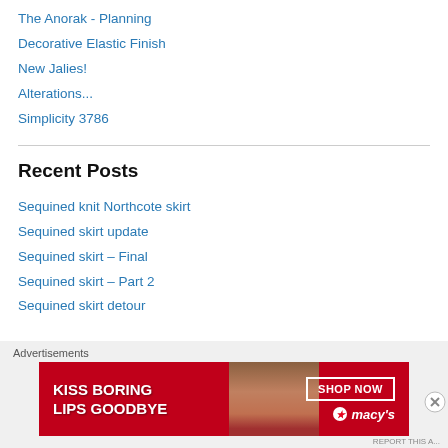The Anorak - Planning
Decorative Elastic Finish
New Jalies!
Alterations...
Simplicity 3786
Recent Posts
Sequined knit Northcote skirt
Sequined skirt update
Sequined skirt – Final
Sequined skirt – Part 2
Sequined skirt detour
[Figure (other): Advertisement banner: KISS BORING LIPS GOODBYE, SHOP NOW, macys star logo]